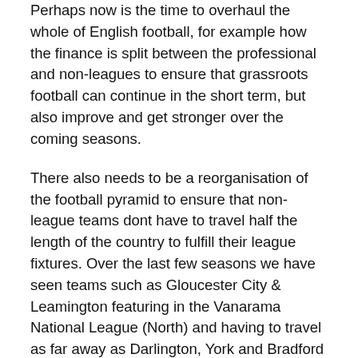Perhaps now is the time to overhaul the whole of English football, for example how the finance is split between the professional and non-leagues to ensure that grassroots football can continue in the short term, but also improve and get stronger over the coming seasons.
There also needs to be a reorganisation of the football pyramid to ensure that non-league teams dont have to travel half the length of the country to fulfill their league fixtures. Over the last few seasons we have seen teams such as Gloucester City & Leamington featuring in the Vanarama National League (North) and having to travel as far away as Darlington, York and Bradford which means massive travelling cost for a non-league club.
Video Assistant Referee (VAR) needs to be removed until it can be used to benefit the whole game, just like it is in